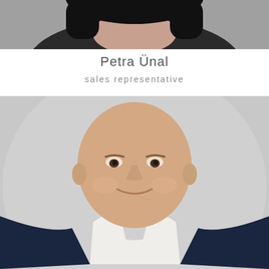[Figure (photo): Top portion of a professional portrait photo of Petra Ünal, a woman with dark hair wearing a dark blazer, cropped to show only the top of head and shoulders]
Petra Ünal
sales representative
[Figure (photo): Professional portrait photo of a bald man in a navy suit and white shirt, smiling, photographed against a light grey background]